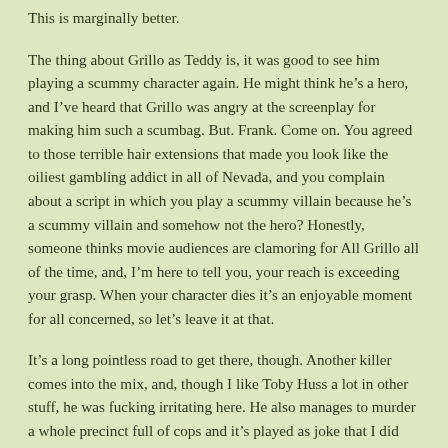This is marginally better.
The thing about Grillo as Teddy is, it was good to see him playing a scummy character again. He might think he’s a hero, and I’ve heard that Grillo was angry at the screenplay for making him such a scumbag. But. Frank. Come on. You agreed to those terrible hair extensions that made you look like the oiliest gambling addict in all of Nevada, and you complain about a script in which you play a scummy villain because he’s a scummy villain and somehow not the hero? Honestly, someone thinks movie audiences are clamoring for All Grillo all of the time, and, I’m here to tell you, your reach is exceeding your grasp. When your character dies it’s an enjoyable moment for all concerned, so let’s leave it at that.
It’s a long pointless road to get there, though. Another killer comes into the mix, and, though I like Toby Huss a lot in other stuff, he was fucking irritating here. He also manages to murder a whole precinct full of cops and it’s played as joke that I did not find funny. I might agree that All Cops are Bastards (ACAB) but that doesn’t mean I want to see them die for my amusement.